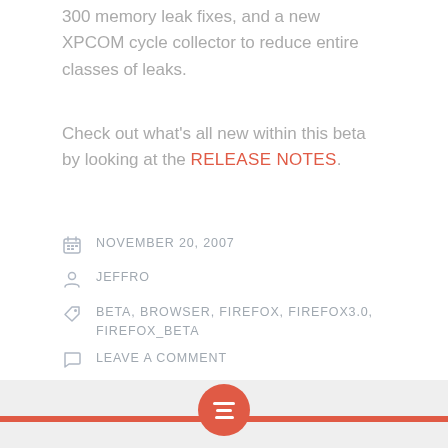300 memory leak fixes, and a new XPCOM cycle collector to reduce entire classes of leaks.
Check out what's all new within this beta by looking at the RELEASE NOTES.
NOVEMBER 20, 2007
JEFFRO
BETA, BROWSER, FIREFOX, FIREFOX3.0, FIREFOX_BETA
LEAVE A COMMENT